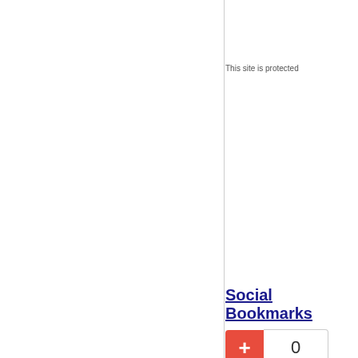This site is protected
Social Bookmarks
0
Ski Jumping Hill Archive on Facebook:
Sta
Visit us on Fa
Follow us on
Follow us on
Copyright
This website uses cookies to ensure you get the best experience on our website. Learn more
Got it!